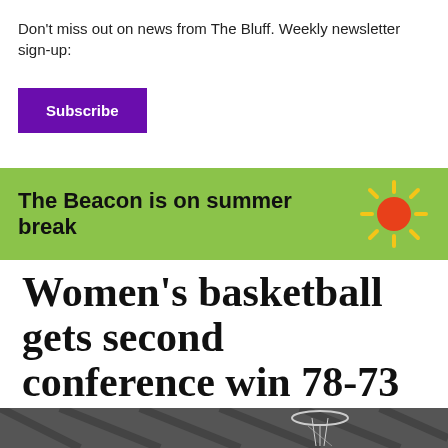Don't miss out on news from The Bluff. Weekly newsletter sign-up:
Subscribe
[Figure (infographic): Green banner with text 'The Beacon is on summer break' and a sun icon on the right]
Women's basketball gets second conference win 78-73 over San Francisco
By Ana Clyde | January 26, 2019 6:24pm
[Figure (photo): Bottom strip of a basketball hoop photo]